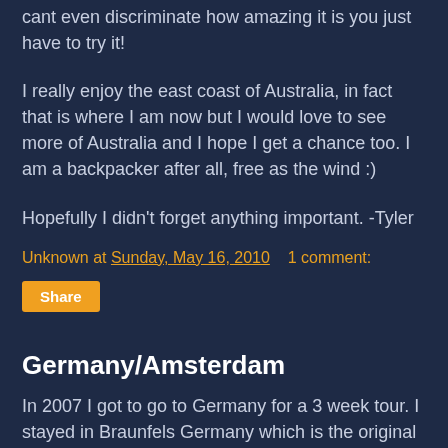cant even discriminate how amazing it is you just have to try it!
I really enjoy the east coast of Australia, in fact that is where I am now but I would love to see more of Australia and I hope I get a chance too. I am a backpacker after all, free as the wind :)
Hopefully I didn't forget anything important. -Tyler
Unknown at Sunday, May 16, 2010   1 comment:
Share
Germany/Amsterdam
In 2007 I got to go to Germany for a 3 week tour. I stayed in Braunfels Germany which is the original city to New Braunfels in Texas. It was really cool to go to a place and have been to the sister city in Texas. I enjoyed hanging out with my friends there and got to see a lot of traditional